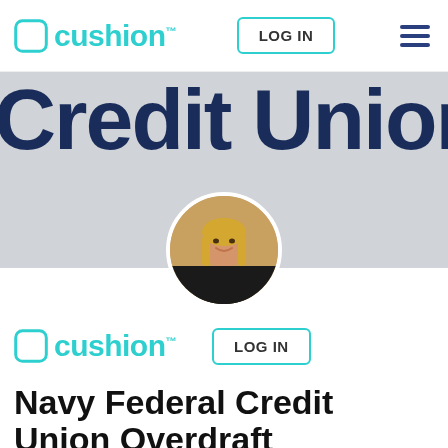cushion™  LOG IN  ☰
[Figure (screenshot): Hero banner showing 'Credit Union' large dark navy text on grey background]
[Figure (photo): Circular profile photo of a smiling blonde woman in a dark top, set against a library/office background]
[Figure (logo): Cushion logo with teal square-rounded icon and wordmark, plus LOG IN button]
Navy Federal Credit Union Overdraft